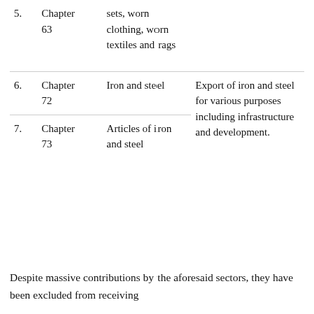| No. | Chapter | Description | Notes |
| --- | --- | --- | --- |
| 5. | Chapter 63 | sets, worn clothing, worn textiles and rags |  |
| 6. | Chapter 72 | Iron and steel | Export of iron and steel for various purposes including infrastructure and development. |
| 7. | Chapter 73 | Articles of iron and steel |  |
Despite massive contributions by the aforesaid sectors, they have been excluded from receiving